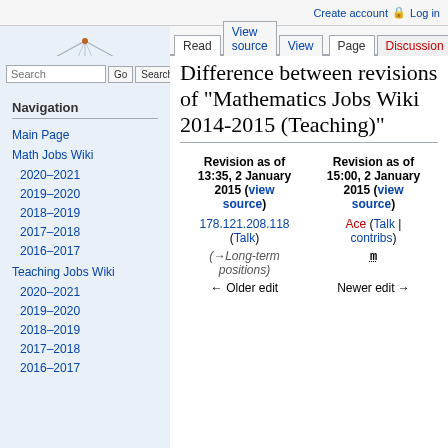Create account  Log in
[Figure (illustration): Wikipedia logo: geometric hexagonal diagram with interconnected triangles and nodes]
Read  View source  View  Page  Discussion
Search [Go] [Search]
Navigation
Main Page
Math Jobs Wiki
2020–2021
2019–2020
2018–2019
2017–2018
2016–2017
Teaching Jobs Wiki
2020–2021
2019–2020
2018–2019
2017–2018
2016–2017
Difference between revisions of "Mathematics Jobs Wiki 2014-2015 (Teaching)"
| Revision as of 13:35, 2 January 2015 (view source) | Revision as of 15:00, 2 January 2015 (view source) |
| --- | --- |
| 178.121.208.118 (Talk) | Ace (Talk | contribs) |
| (→Long-term positions) | m |
| ← Older edit | Newer edit → |